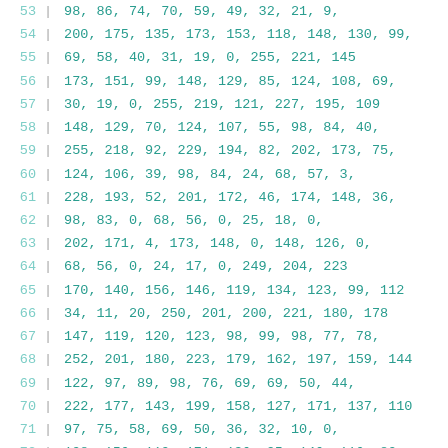53   98, 86, 74, 70, 59, 49, 32, 21, 9,
54   200, 175, 135, 173, 153, 118, 148, 130, 99,
55   69, 58, 40, 31, 19, 0, 255, 221, 145
56   173, 151, 99, 148, 129, 85, 124, 108, 69,
57   30, 19, 0, 255, 219, 121, 227, 195, 109
58   148, 129, 70, 124, 107, 55, 98, 84, 40,
59   255, 218, 92, 229, 194, 82, 202, 173, 75,
60   124, 106, 39, 98, 84, 24, 68, 57, 3,
61   228, 193, 52, 201, 172, 46, 174, 148, 36,
62   98, 83, 0, 68, 56, 0, 25, 18, 0,
63   202, 171, 4, 173, 148, 0, 148, 126, 0,
64   68, 56, 0, 24, 17, 0, 249, 204, 223
65   170, 140, 156, 146, 119, 134, 123, 99, 112
66   34, 11, 20, 250, 201, 200, 221, 180, 178
67   147, 119, 120, 123, 98, 99, 98, 77, 78,
68   252, 201, 180, 223, 179, 162, 197, 159, 144
69   122, 97, 89, 98, 76, 69, 69, 50, 44,
70   222, 177, 143, 199, 158, 127, 171, 137, 110
71   97, 75, 58, 69, 50, 36, 32, 10, 0,
72   198, 156, 110, 171, 136, 95, 146, 116, 80,
73   69, 50, 25, 30, 10, 0, 254, 197, 115
74   173, 137, 70, 147, 115, 33, 120, 87, 5